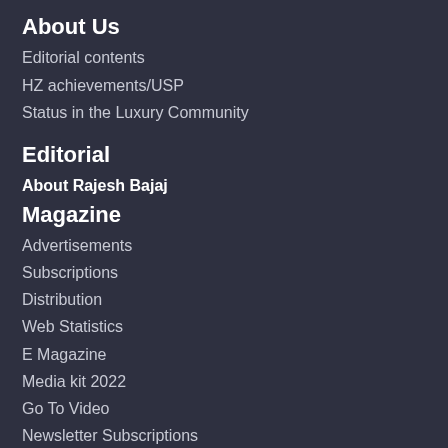About Us
Editorial contents
HZ achievements/USP
Status in the Luxury Community
Editorial
About Rajesh Bajaj
Magazine
Advertisements
Subscriptions
Distribution
Web Statistics
E Magazine
Media kit 2022
Go To Video
Newsletter Subscriptions
Current Issue
Glorious History